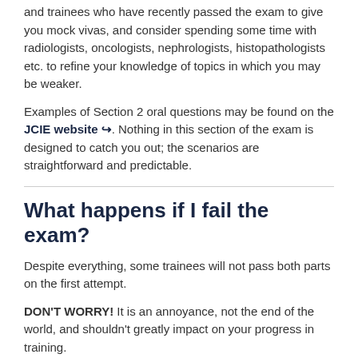and trainees who have recently passed the exam to give you mock vivas, and consider spending some time with radiologists, oncologists, nephrologists, histopathologists etc. to refine your knowledge of topics in which you may be weaker.
Examples of Section 2 oral questions may be found on the JCIE website. Nothing in this section of the exam is designed to catch you out; the scenarios are straightforward and predictable.
What happens if I fail the exam?
Despite everything, some trainees will not pass both parts on the first attempt.
DON'T WORRY! It is an annoyance, not the end of the world, and shouldn't greatly impact on your progress in training.
You can have four attempts at Section 1 within a two-year